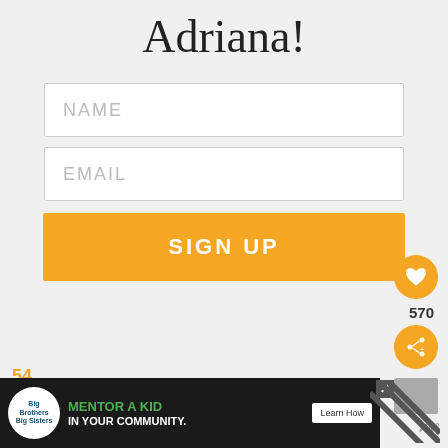Adriana!
NAME
EMAIL
SIGN UP
[Figure (screenshot): Advertisement banner for Big Brothers Big Sisters: MENTOR A KID IN YOUR COMMUNITY. Learn How button. Black background with green and white text.]